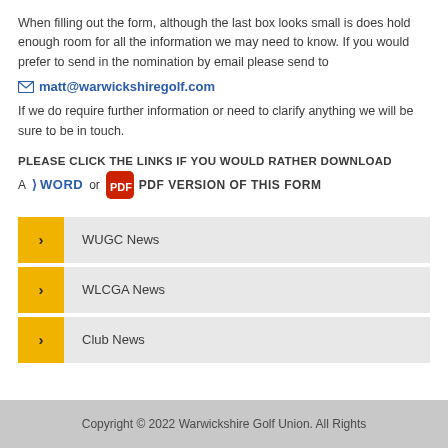When filling out the form, although the last box looks small is does hold enough room for all the information we may need to know. If you would prefer to send in the nomination by email please send to matt@warwickshiregolf.com If we do require further information or need to clarify anything we will be sure to be in touch.
PLEASE CLICK THE LINKS IF YOU WOULD RATHER DOWNLOAD A WORD or PDF VERSION OF THIS FORM
WUGC News
WLCGA News
Club News
Copyright © 2022 Warwickshire Golf Union. All Rights